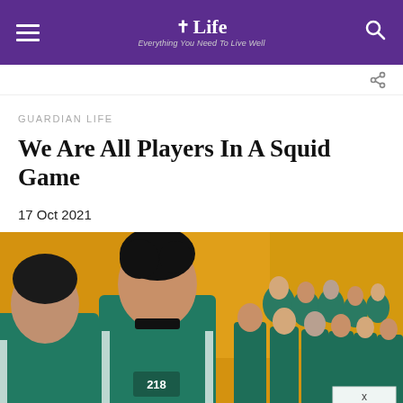Life — Everything You Need To Live Well
GUARDIAN LIFE
We Are All Players In A Squid Game
17 Oct 2021
[Figure (photo): Scene from Squid Game showing contestants in teal tracksuits lined up in a large yellow-walled gymnasium. Two main characters visible in the foreground with many other players behind them.]